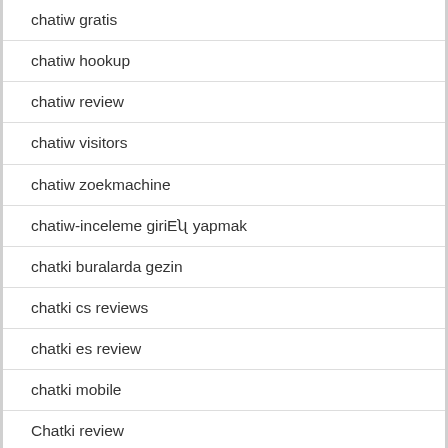| chatiw gratis |
| chatiw hookup |
| chatiw review |
| chatiw visitors |
| chatiw zoekmachine |
| chatiw-inceleme giriEʯ yapmak |
| chatki buralarda gezin |
| chatki cs reviews |
| chatki es review |
| chatki mobile |
| Chatki review |